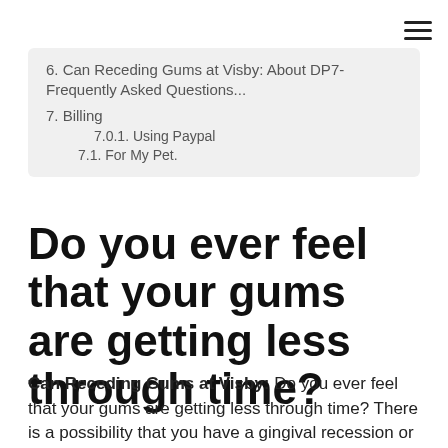≡
6. Can Receding Gums at Visby: About DP7- Frequently Asked Questions...
7. Billing
7.0.1. Using Paypal
7.1. For My Pet.
Do you ever feel that your gums are getting less through time?
Can Receding Gums at Visby: Do you ever feel that your gums are getting less through time? There is a possibility that you have a gingival recession or mostly known as receding gums. To know better